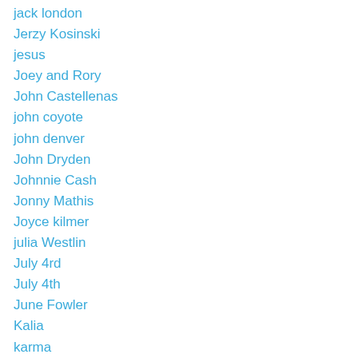jack london
Jerzy Kosinski
jesus
Joey and Rory
John Castellenas
john coyote
john denver
John Dryden
Johnnie Cash
Jonny Mathis
Joyce kilmer
julia Westlin
July 4rd
July 4th
June Fowler
Kalia
karma
Katherine Vice
Kathryn Smith
kenya